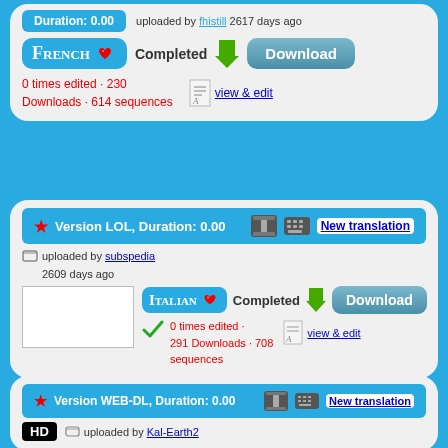Duration: 0.00 — uploaded by fhistill 2617 days ago
[Figure (screenshot): French subtitle entry with Completed status and Download button. 0 times edited · 230 Downloads · 614 sequences]
[Figure (screenshot): Version LOL, Duration: 0.00 — New translation, uploaded by subspedia, 2609 days ago. Italian Completed with Download. 0 times edited · 291 Downloads · 708 sequences]
[Figure (screenshot): Version WEB-DL, Duration: 0.00 — New translation, uploaded by Kal-Earth2, 2608 days ago. HD badge. Italian Completed with Download. 0 times edited · 84 Downloads · 702 sequences]